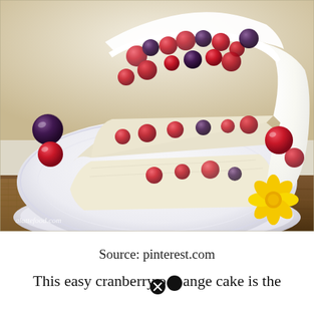[Figure (photo): A close-up photo of a slice of cranberry orange layer cake on a white plate. The cake has pale yellow/cream sponge layers with whole cranberries embedded throughout. The outside is frosted with white cream cheese frosting. Fresh cranberries are scattered on the plate. The plate sits on a wooden table with burlap texture visible. A yellow flower is partially visible in the bottom right corner. Watermark reads 'alattefood.com' in the bottom left.]
Source: pinterest.com
This easy cranberry orange cake is the